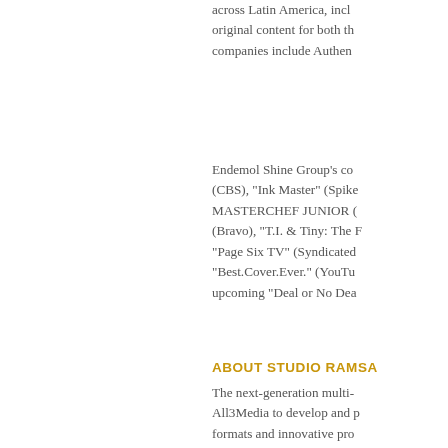across Latin America, incl... original content for both th... companies include Authen...
Endemol Shine Group's co... (CBS), "Ink Master" (Spike... MASTERCHEF JUNIOR (... (Bravo), "T.I. & Tiny: The F... "Page Six TV" (Syndicated... "Best.Cover.Ever." (YouTu... upcoming "Deal or No Dea...
ABOUT STUDIO RAMSAY
The next-generation multi-... All3Media to develop and p... formats and innovative pro... themes, and development... Ramsay has worked on his... original content he's curren... distribution...